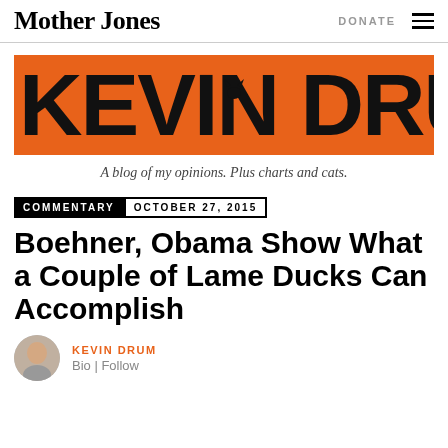Mother Jones | DONATE
[Figure (logo): Kevin Drum blog banner - orange background with large stylized black text 'KEVIN DRUM' containing illustrations]
A blog of my opinions. Plus charts and cats.
COMMENTARY  OCTOBER 27, 2015
Boehner, Obama Show What a Couple of Lame Ducks Can Accomplish
KEVIN DRUM
Bio | Follow